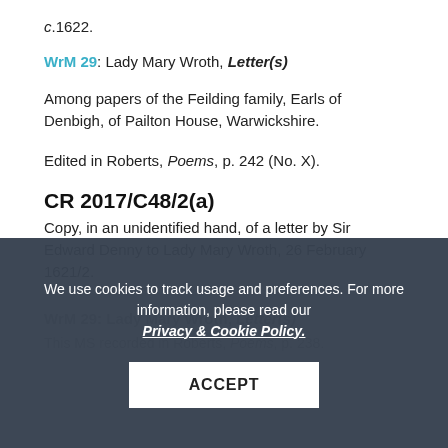c.1622.
WrM 29: Lady Mary Wroth, Letter(s)
Among papers of the Feilding family, Earls of Denbigh, of Pailton House, Warwickshire.
Edited in Roberts, Poems, p. 242 (No. X).
CR 2017/C48/2(a)
Copy, in an unidentified hand, of a letter by Sir Edward Denny to Lady Mary Wroth, 26 February 1621/2.
WrM 29: Lady Mary Wroth, Letter(s)
This MS recorded in Roberts, Poems, p. 238.
We use cookies to track usage and preferences. For more information, please read our Privacy & Cookie Policy.
ACCEPT